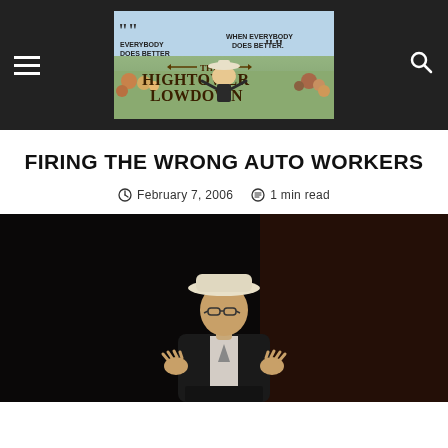[Figure (logo): The Hightower Lowdown website logo banner with illustrated crowd background and text: EVERYBODY DOES BETTER WHEN EVERYBODY DOES BETTER]
FIRING THE WRONG AUTO WORKERS
February 7, 2006  1 min read
[Figure (photo): A man wearing a white cowboy hat and glasses, in a dark suit, gesturing with his hands against a dark background]